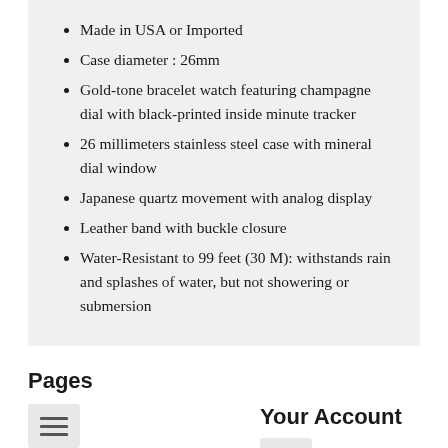Made in USA or Imported
Case diameter : 26mm
Gold-tone bracelet watch featuring champagne dial with black-printed inside minute tracker
26 millimeters stainless steel case with mineral dial window
Japanese quartz movement with analog display
Leather band with buckle closure
Water-Resistant to 99 feet (30 M): withstands rain and splashes of water, but not showering or submersion
Pages
[Figure (screenshot): Hamburger menu icon button]
Your Account
[Figure (screenshot): Hamburger menu icon button for Your Account]
Categories